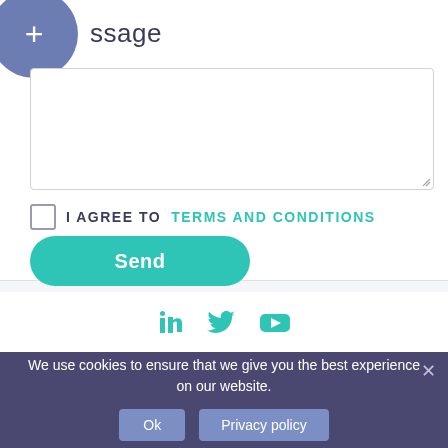+ ssage
[Figure (screenshot): Textarea input box for message]
I AGREE TO TERMS AND CONDITIONS
Send
[Figure (infographic): LinkedIn, Twitter, YouTube social media icons in teal]
We use cookies to ensure that we give you the best experience on our website.
Ok
Privacy policy